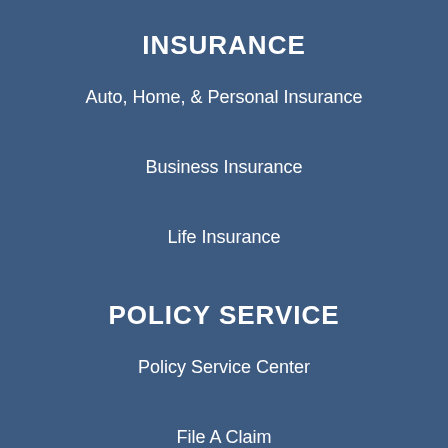INSURANCE
Auto, Home, & Personal Insurance
Business Insurance
Life Insurance
POLICY SERVICE
Policy Service Center
File A Claim